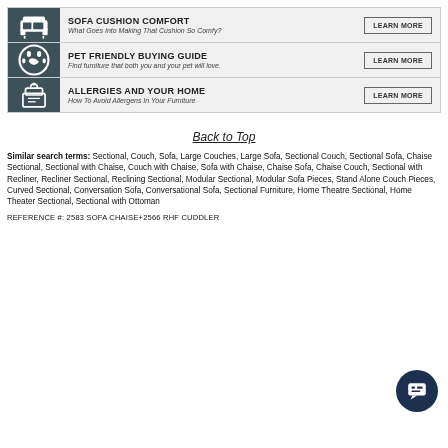[Figure (infographic): Three-row banner with dark teal icon column and grey background. Row 1: sofa icon, 'SOFA CUSHION COMFORT', 'What Goes Into Making That Cushion So Comfy?', LEARN MORE button. Row 2: paw print icon, 'PET FRIENDLY BUYING GUIDE', 'Find furniture that both you and your pet will love.', LEARN MORE button. Row 3: tissue box icon, 'ALLERGIES AND YOUR HOME', 'How To Avoid Allergens In Your Furniture', LEARN MORE button.]
Back to Top
Similar search terms: Sectional, Couch, Sofa, Large Couches, Large Sofa, Sectional Couch, Sectional Sofa, Chaise Sectional, Sectional with Chaise, Couch with Chaise, Sofa with Chaise, Chaise Sofa, Chaise Couch, Sectional with Recliner, Recliner Sectional, Reclining Sectional, Modular Sectional, Modular Sofa Pieces, Stand Alone Couch Pieces, Curved Sectional, Conversation Sofa, Conversational Sofa, Sectional Furniture, Home Theatre Sectional, Home Theater Sectional, Sectional with Ottoman
REFERENCE #: 2583 SOFA CHAISE+2566 RHF CUDDLER